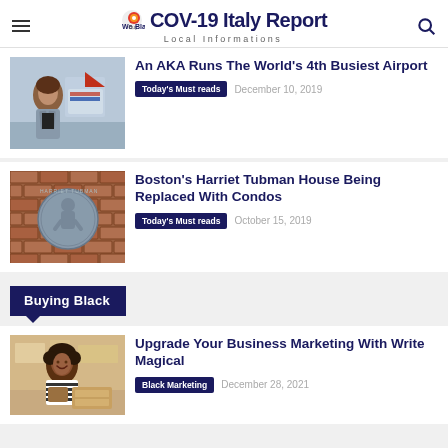COV-19 Italy Report — Local Informations
An AKA Runs The World's 4th Busiest Airport
Today's Must reads  December 10, 2019
Boston's Harriet Tubman House Being Replaced With Condos
Today's Must reads  October 15, 2019
Buying Black
Upgrade Your Business Marketing With Write Magical
Black Marketing  December 28, 2021